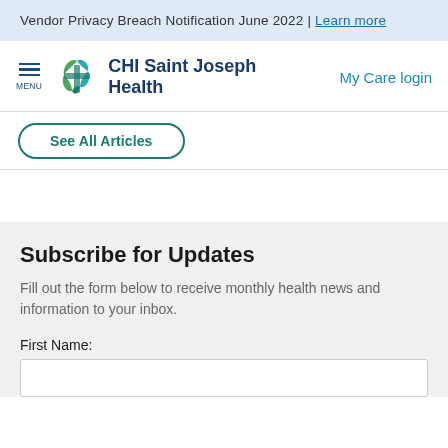Vendor Privacy Breach Notification June 2022 | Learn more
[Figure (logo): CHI Saint Joseph Health logo with green and teal cross/leaf icon, alongside hamburger menu and My Care login link]
See All Articles
Subscribe for Updates
Fill out the form below to receive monthly health news and information to your inbox.
First Name: